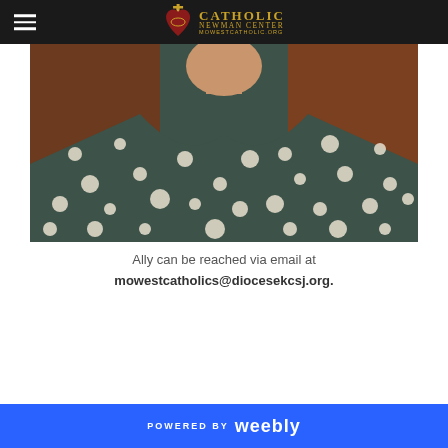Catholic Newman Center - mowestcatholic.org
[Figure (photo): Close-up photo of a woman with curly hair wearing a dark teal/green dress with white polka dots, cropped to show neck and torso]
Ally can be reached via email at
mowestcatholics@diocesekcsj.org.
POWERED BY weebly